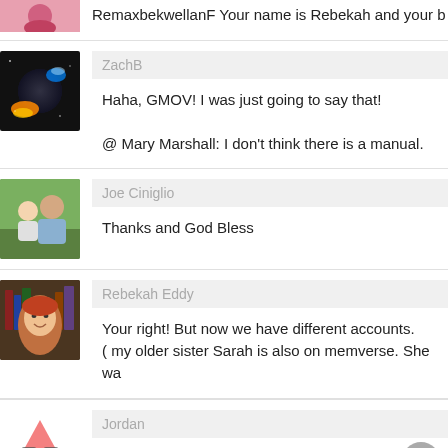RemaxbekwellanF Your name is Rebekah and your b
[Figure (photo): Avatar of ZachB - glowing earth with fire and blue light on dark background]
ZachB
Haha, GMOV! I was just going to say that!

@ Mary Marshall: I don't think there is a manual.
[Figure (photo): Avatar of Joe Ciniglio - couple outdoors, man and woman smiling]
Joe Ciniglio
Thanks and God Bless
[Figure (photo): Avatar of Rebekah Eddy - red-haired young woman in library setting]
Rebekah Eddy
Your right! But now we have different accounts. ( my older sister Sarah is also on memverse. She wa
[Figure (illustration): Avatar of Jordan - pink cartoon robot character]
Jordan